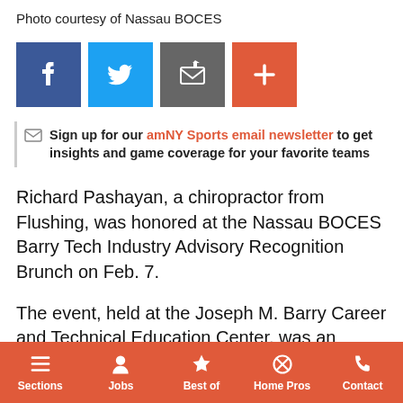Photo courtesy of Nassau BOCES
[Figure (infographic): Social media sharing buttons: Facebook, Twitter, Email, More]
Sign up for our amNY Sports email newsletter to get insights and game coverage for your favorite teams
Richard Pashayan, a chiropractor from Flushing, was honored at the Nassau BOCES Barry Tech Industry Advisory Recognition Brunch on Feb. 7.
The event, held at the Joseph M. Barry Career and Technical Education Center, was an opportunity for Nassau BOCES board members, administrators, faculty, staff and students to thank local business leaders like Pashayan for their ongoing guidance and support.
Sections | Jobs | Best of | Home Pros | Contact